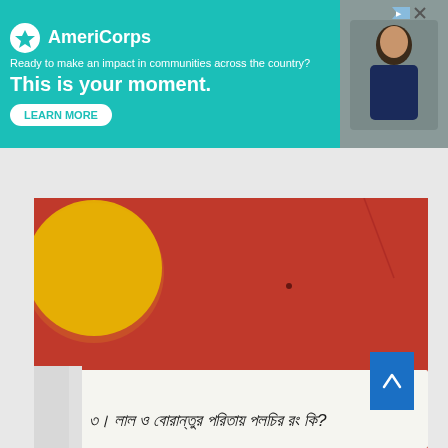[Figure (screenshot): AmeriCorps advertisement banner with teal background. Logo shows AmeriCorps name with circular icon. Text reads: 'Ready to make an impact in communities across the country? This is your moment.' with a LEARN MORE button. Right side shows a photo of a student.]
[Figure (photo): Photo of an open book/notebook with Bengali handwritten text on white paper, against a red background with a yellow circular object in the upper left corner. The Bengali text appears to be a question.]